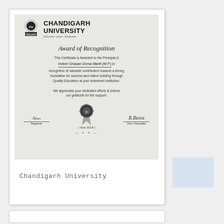[Figure (photo): Photograph of a Chandigarh University Award of Recognition certificate. The certificate features the Chandigarh University logo and name, cursive title 'Award of Recognition', body text awarding the Principal of Indore Ghasan Doma Mantt (M.P.) for valuable contribution towards a strong foundation for success and nation building through Quality Education. Signatures of Registrar and Vice Chancellor, a medallion emblem, and Year 2018 are shown at the bottom.]
Chandigarh University